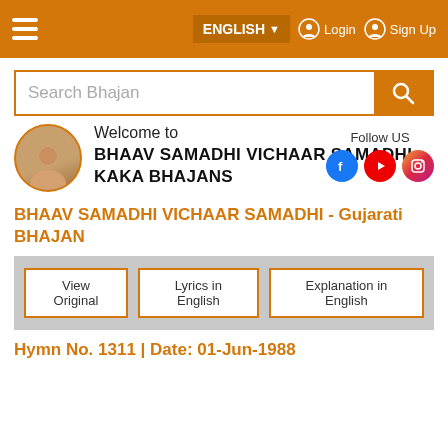ENGLISH  Login  Sign Up
Search Bhajan
Follow US
Welcome to
BHAAV SAMADHI VICHAAR SAMADHI KAKA BHAJANS
BHAAV SAMADHI VICHAAR SAMADHI - Gujarati BHAJAN
View Original
Lyrics in English
Explanation in English
Hymn No. 1311 | Date: 01-Jun-1988